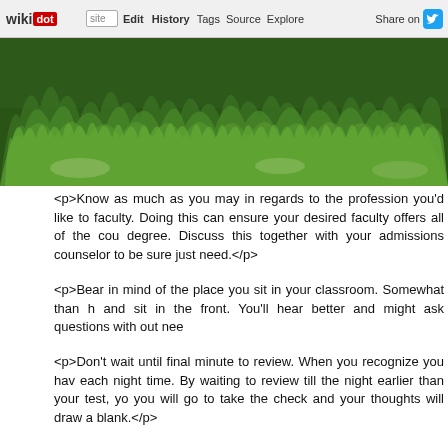wikidot | site | Edit | History | Tags | Source | Explore | Share on Twitter
[Figure (photo): Green grass field photo used as page banner image]
<p>Know as much as you may in regards to the profession you'd like to faculty. Doing this can ensure your desired faculty offers all of the cou degree. Discuss this together with your admissions counselor to be sure just need.</p>
<p>Bear in mind of the place you sit in your classroom. Somewhat than h and sit in the front. You'll hear better and might ask questions with out nee</p>
<p>Don't wait until final minute to review. When you recognize you hav each night time. By waiting to review till the night earlier than your test, yo you will go to take the check and your thoughts will draw a blank.</p>
<p>Make time for breaks. Whereas finding out is critical, additionally it study breaks. Make sure you take ten minutes of breaks for each hour yo it.</p>
<p>Remember you can always transfer. Typically Would You Wish to Fin and don't love the college they've chosen. The good news is that you co special school if you'd like to do so. There is no disgrace in doing that, an </p>
<p>When you find yourself studying for a take a look at, it will be signifi Finding out can take a toll on each your bodily and mental well being, b the f ti t ti T k ll t b T f d t i</p>